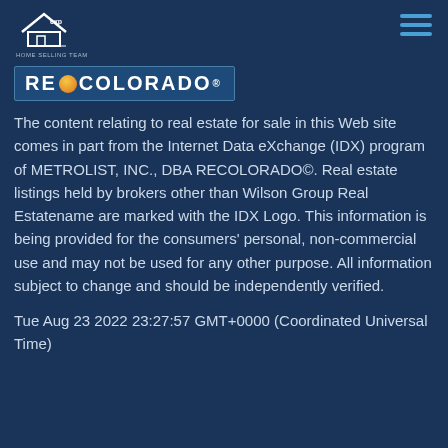SAM WILSON HOME SELLING TEAM | exp
[Figure (logo): REcolorado logo with orange dot and bold uppercase text on a dark blue banner]
The content relating to real estate for sale in this Web site comes in part from the Internet Data eXchange (IDX) program of METROLIST, INC., DBA RECOLORADO©. Real estate listings held by brokers other than Wilson Group Real Estatename are marked with the IDX Logo. This information is being provided for the consumers' personal, non-commercial use and may not be used for any other purpose. All information subject to change and should be independently verified.
Tue Aug 23 2022 23:27:57 GMT+0000 (Coordinated Universal Time)